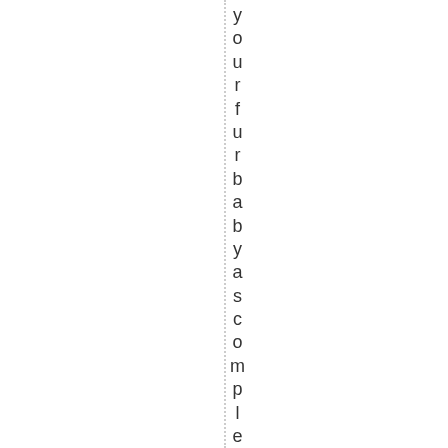yourfurbabyascompletelyhealthy